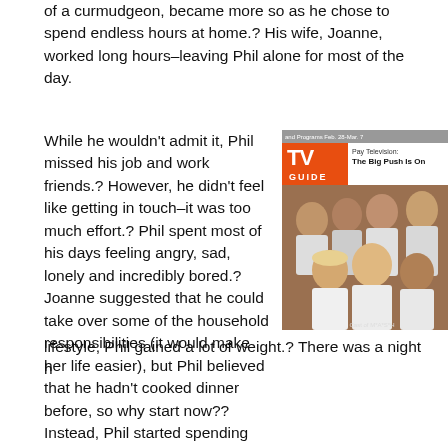of a curmudgeon, became more so as he chose to spend endless hours at home.? His wife, Joanne, worked long hours–leaving Phil alone for most of the day.
While he wouldn't admit it, Phil missed his job and work friends.? However, he didn't feel like getting in touch–it was too much effort.? Phil spent most of his days feeling angry, sad, lonely and incredibly bored.? Joanne suggested that he could take over some of the household responsibilities (it would make her life easier), but Phil believed that he hadn't cooked dinner before, so why start now?? Instead, Phil started spending hours of his time on the internet watching episodes of his favourite 1970's tv shows on or napping on the couch.? Due to his inactive lifestyle, Phil gained a lot of weight.? There was a night h
[Figure (photo): TV Guide magazine cover showing a group of people (cast photo) with the TV Guide logo in orange/red on the left side of the header. Top right reads 'Pay Television: The Big Push Is On'. The cover photo shows approximately 7-8 people in white shirts posed together.]